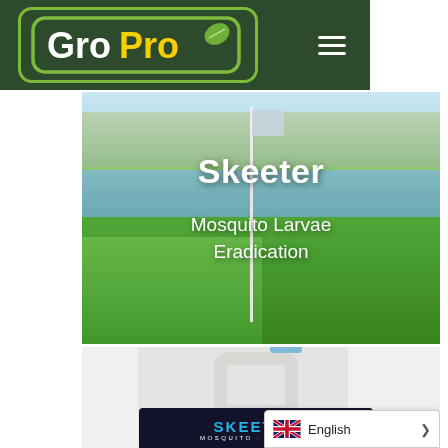[Figure (logo): GroPro logo with green rounded rectangle border and leaf icon on dark green background, with hamburger menu icon]
[Figure (photo): Golf course hero image with green fairway, water hazard/pond, trees in background, white flag on pole. Text overlay: 'Skeeter' and 'Mosquito Larvae Eradication']
Skeeter
Mosquito Larvae Eradication
[Figure (photo): White plastic jerry can/jug with blue cap and Skeeter Mosquito Control label on dark background at the bottom]